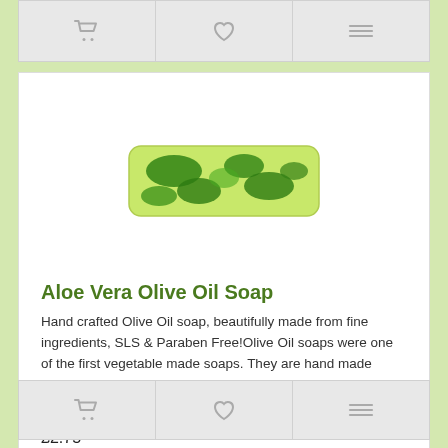[Figure (other): Top navigation bar with cart, heart/wishlist, and compare icons on grey background]
[Figure (photo): Green and white swirled bar of Aloe Vera Olive Oil Soap, rectangular block shape with dark green marbling on light green base]
Aloe Vera Olive Oil Soap
Hand crafted Olive Oil soap, beautifully made from fine ingredients, SLS & Paraben Free!Olive Oil soaps were one of the first vegetable made soaps. They are hand made using traditional cold proces..
Out Of Stock
£2.75
Ex Tax: £2.29
[Figure (other): Bottom navigation bar with cart, heart/wishlist, and compare icons on grey background]